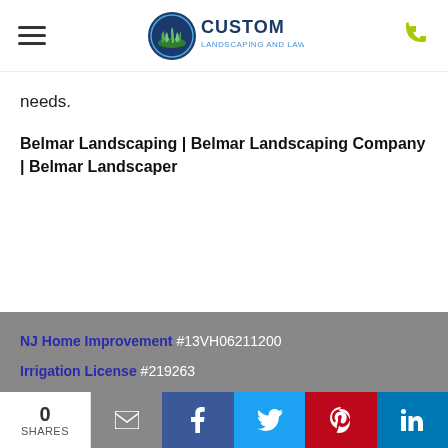[Figure (logo): Custom Landscaping and Lawncare logo with hamburger menu and phone icon in header]
needs.
Belmar Landscaping | Belmar Landscaping Company | Belmar Landscaper
NJ Home Improvement #13VH06211200
Irrigation License #219263
NJ Pesticide License #99983A
Business Hours:
0 SHARES | email | facebook | twitter | pinterest | linkedin